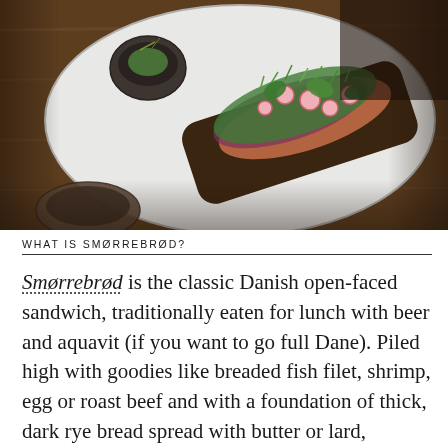[Figure (photo): Overhead shot of a smørrebrød (open-faced Danish sandwich) on a large white ceramic plate atop a wooden board. The sandwich is topped with colorful garnishes including radish slices, fresh herbs, microgreens, and vegetables. A small dark bowl with garnish is also visible on the plate.]
WHAT IS SMØRREBRØD?
Smørrebrød is the classic Danish open-faced sandwich, traditionally eaten for lunch with beer and aquavit (if you want to go full Dane). Piled high with goodies like breaded fish filet, shrimp, egg or roast beef and with a foundation of thick, dark rye bread spread with butter or lard,